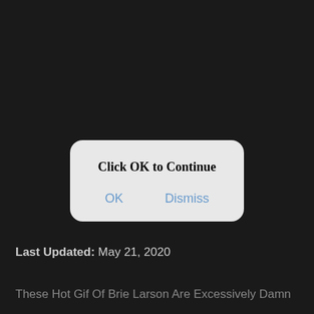[Figure (screenshot): iOS-style dialog box on dark background with title 'Click OK to Continue' and two buttons: OK and Dismiss]
Last Updated: May 21, 2020
These Hot Gif Of Brie Larson Are Excessively Damn